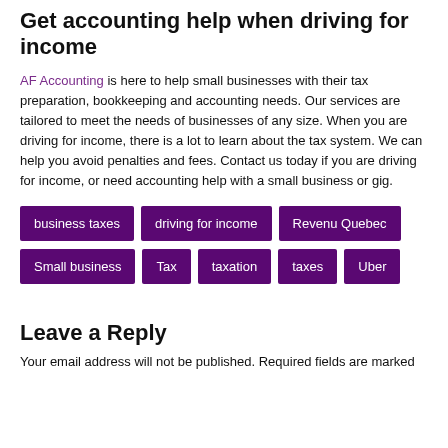Get accounting help when driving for income
AF Accounting is here to help small businesses with their tax preparation, bookkeeping and accounting needs. Our services are tailored to meet the needs of businesses of any size. When you are driving for income, there is a lot to learn about the tax system. We can help you avoid penalties and fees. Contact us today if you are driving for income, or need accounting help with a small business or gig.
business taxes | driving for income | Revenu Quebec | Small business | Tax | taxation | taxes | Uber
Leave a Reply
Your email address will not be published. Required fields are marked